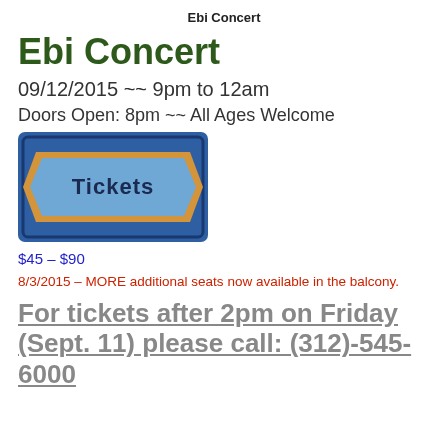Ebi Concert
Ebi Concert
09/12/2015 ~~ 9pm to 12am
Doors Open: 8pm ~~ All Ages Welcome
[Figure (illustration): A ticket graphic with blue background and gold/orange border, reading 'Tickets' in bold dark text in the center.]
$45 – $90
8/3/2015 – MORE additional seats now available in the balcony.
For tickets after 2pm on Friday (Sept. 11) please call: (312)-545-6000